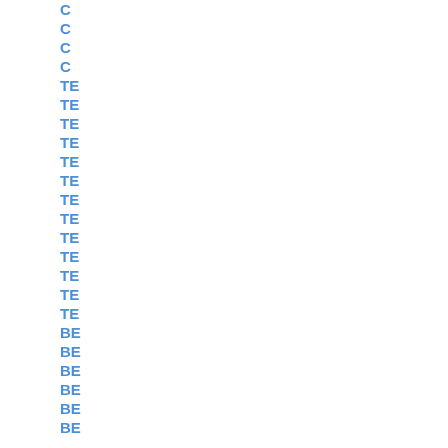C
C
C
C
TE
TE
TE
TE
TE
TE
TE
TE
TE
TE
TE
TE
TE
BE
BE
BE
BE
BE
BE